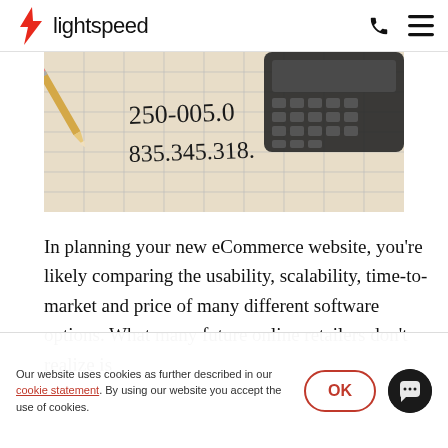lightspeed
[Figure (photo): Close-up photo of a pencil, handwritten accounting ledger with numbers (250-005.0, 835.345.318), and a black calculator on grid paper.]
In planning your new eCommerce website, you're likely comparing the usability, scalability, time-to-market and price of many different software options. What many future online retailers don't realize is
Our website uses cookies as further described in our cookie statement. By using our website you accept the use of cookies.